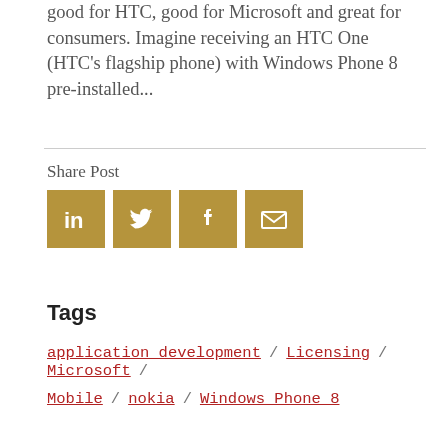good for HTC, good for Microsoft and great for consumers.  Imagine receiving an HTC One (HTC's flagship phone) with Windows Phone 8 pre-installed...
Share Post
[Figure (infographic): Four social sharing icon buttons (LinkedIn, Twitter, Facebook, Email) in gold/tan square buttons with white icons]
Tags
application development / Licensing / Microsoft /
Mobile / nokia / Windows Phone 8